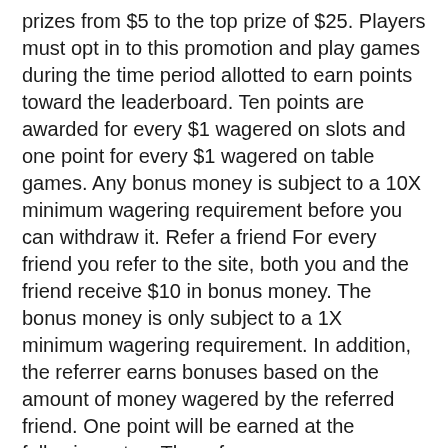prizes from $5 to the top prize of $25. Players must opt in to this promotion and play games during the time period allotted to earn points toward the leaderboard. Ten points are awarded for every $1 wagered on slots and one point for every $1 wagered on table games. Any bonus money is subject to a 10X minimum wagering requirement before you can withdraw it. Refer a friend For every friend you refer to the site, both you and the friend receive $10 in bonus money. The bonus money is only subject to a 1X minimum wagering requirement. In addition, the referrer earns bonuses based on the amount of money wagered by the referred friend. One point will be earned at the following rates: The referrer can earn a monthly bonus up to $1,000. This bonus money is subject to a 20X [link: আসল টাকা ক্যাসিনো বোনাস কোড 300] minimum wagering requirement.
For the original version including any